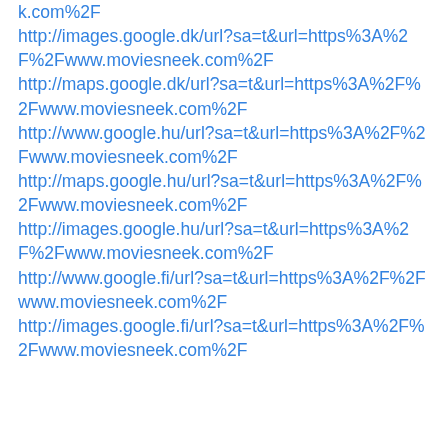k.com%2F
http://images.google.dk/url?sa=t&url=https%3A%2F%2Fwww.moviesneek.com%2F
http://maps.google.dk/url?sa=t&url=https%3A%2F%2Fwww.moviesneek.com%2F
http://www.google.hu/url?sa=t&url=https%3A%2F%2Fwww.moviesneek.com%2F
http://maps.google.hu/url?sa=t&url=https%3A%2F%2Fwww.moviesneek.com%2F
http://images.google.hu/url?sa=t&url=https%3A%2F%2Fwww.moviesneek.com%2F
http://www.google.fi/url?sa=t&url=https%3A%2F%2Fwww.moviesneek.com%2F
http://images.google.fi/url?sa=t&url=https%3A%2F%2Fwww.moviesneek.com%2F